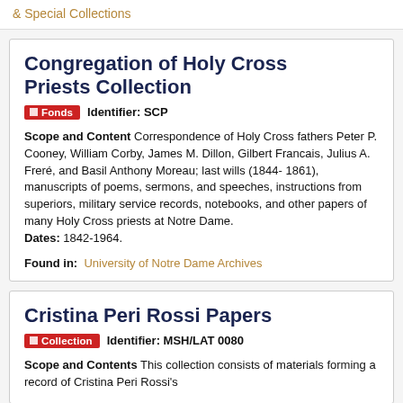& Special Collections
Congregation of Holy Cross Priests Collection
Fonds   Identifier: SCP
Scope and Content Correspondence of Holy Cross fathers Peter P. Cooney, William Corby, James M. Dillon, Gilbert Francais, Julius A. Freré, and Basil Anthony Moreau; last wills (1844- 1861), manuscripts of poems, sermons, and speeches, instructions from superiors, military service records, notebooks, and other papers of many Holy Cross priests at Notre Dame. Dates: 1842-1964.
Found in:  University of Notre Dame Archives
Cristina Peri Rossi Papers
Collection   Identifier: MSH/LAT 0080
Scope and Contents This collection consists of materials forming a record of Cristina Peri Rossi's